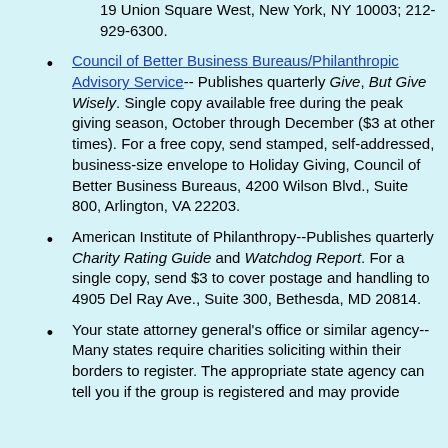19 Union Square West, New York, NY 10003; 212-929-6300.
Council of Better Business Bureaus/Philanthropic Advisory Service-- Publishes quarterly Give, But Give Wisely. Single copy available free during the peak giving season, October through December ($3 at other times). For a free copy, send stamped, self-addressed, business-size envelope to Holiday Giving, Council of Better Business Bureaus, 4200 Wilson Blvd., Suite 800, Arlington, VA 22203.
American Institute of Philanthropy--Publishes quarterly Charity Rating Guide and Watchdog Report. For a single copy, send $3 to cover postage and handling to 4905 Del Ray Ave., Suite 300, Bethesda, MD 20814.
Your state attorney general's office or similar agency--Many states require charities soliciting within their borders to register. The appropriate state agency can tell you if the group is registered and may provide